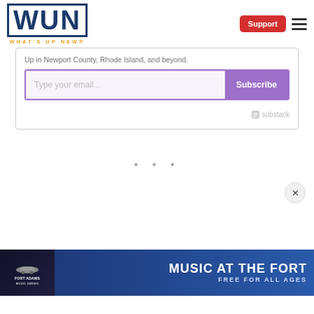WUN WHAT'S UP NEWP — Support button and hamburger menu
Up in Newport County, Rhode Island, and beyond.
[Figure (screenshot): Email subscription widget with 'Type your email...' input field and purple 'Subscribe' button, with Substack branding]
• • •
[Figure (infographic): Advertisement banner: MUSIC AT THE FORT — FREE FOR ALL AGES, Fort Adams Music Series, with cannon graphic and nighttime crowd silhouette background]